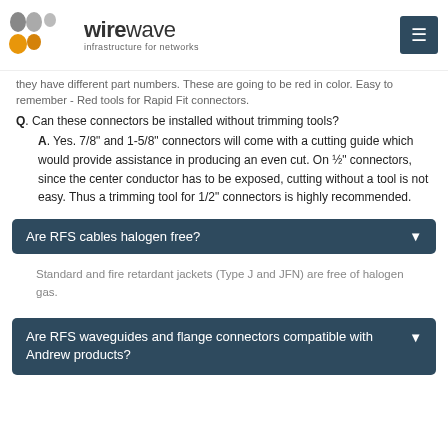wirewave - infrastructure for networks
they have different part numbers. These are going to be red in color. Easy to remember - Red tools for Rapid Fit connectors.
Q. Can these connectors be installed without trimming tools?
A. Yes. 7/8" and 1-5/8" connectors will come with a cutting guide which would provide assistance in producing an even cut. On ½" connectors, since the center conductor has to be exposed, cutting without a tool is not easy. Thus a trimming tool for 1/2" connectors is highly recommended.
Are RFS cables halogen free?
Standard and fire retardant jackets (Type J and JFN) are free of halogen gas.
Are RFS waveguides and flange connectors compatible with Andrew products?